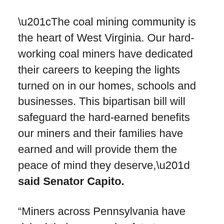“The coal mining community is the heart of West Virginia. Our hard-working coal miners have dedicated their careers to keeping the lights turned on in our homes, schools and businesses. This bipartisan bill will safeguard the hard-earned benefits our miners and their families have earned and will provide them the peace of mind they deserve,” said Senator Capito.
“Miners across Pennsylvania have risked their personal safety to secure a better life for their families and contribute to our nation’s energy portfolio. We can’t let their retirements